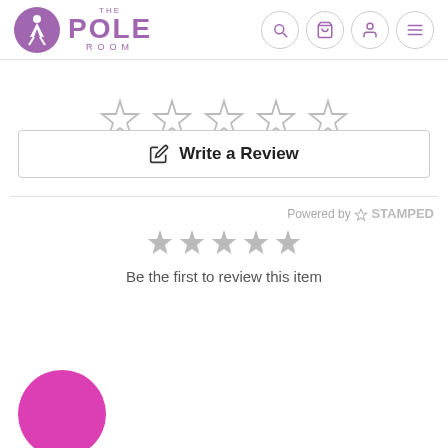[Figure (logo): The Pole Room logo: purple circle with dancer silhouette, text THE POLE ROOM]
[Figure (infographic): Navigation icons: search, cart, user, menu (hamburger) in circular outlined buttons]
[Figure (infographic): Five empty/outline star rating icons]
✎  Write a Review
Powered by ✦ STAMPED
[Figure (infographic): Five small filled grey star rating icons]
Be the first to review this item
[Figure (other): Pink/magenta filled circle (avatar placeholder)]